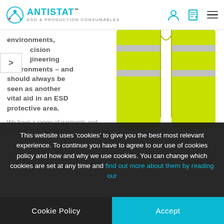ANTISTAT ESD & PRODUCTION CONSUMABLES
environments, precision engineering environments – and should always be seen as another vital aid in an ESD protective area.
[Figure (photo): Yellow high-visibility safety vest/trousers with reflective silver bands, shown from the lower portion]
We have a range of garments and shoes which have been
This website uses 'cookies' to give you the best most relevant experience. To continue you have to agree to our use of cookies policy and how and why we use cookies. You can change which cookies are set at any time and find out more about them by reading our
Cookie Policy
Accept